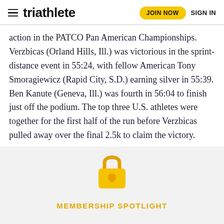triathlete  JOIN NOW  SIGN IN
action in the PATCO Pan American Championships. Verzbicas (Orland Hills, Ill.) was victorious in the sprint-distance event in 55:24, with fellow American Tony Smoragiewicz (Rapid City, S.D.) earning silver in 55:39. Ben Kanute (Geneva, Ill.) was fourth in 56:04 to finish just off the podium. The top three U.S. athletes were together for the first half of the run before Verzbicas pulled away over the final 2.5k to claim the victory.
Read more: USA Triathlon
[Figure (illustration): Gold padlock icon above a light gray paywall/membership spotlight section]
MEMBERSHIP SPOTLIGHT